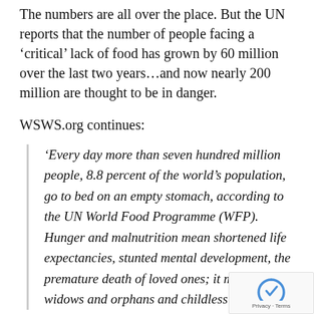The numbers are all over the place. But the UN reports that the number of people facing a 'critical' lack of food has grown by 60 million over the last two years...and now nearly 200 million are thought to be in danger.
WSWS.org continues:
'Every day more than seven hundred million people, 8.8 percent of the world's population, go to bed on an empty stomach, according to the UN World Food Programme (WFP). Hunger and malnutrition mean shortened life expectancies, stunted mental development, the premature death of loved ones; it means widows and orphans and childless parents.'